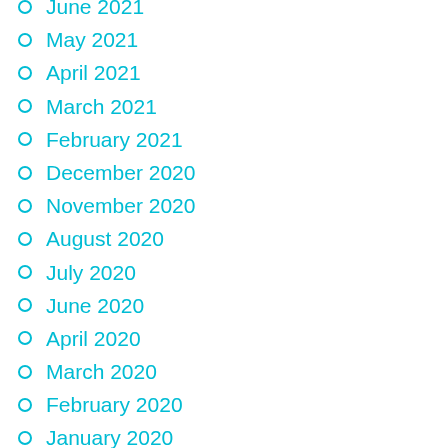June 2021
May 2021
April 2021
March 2021
February 2021
December 2020
November 2020
August 2020
July 2020
June 2020
April 2020
March 2020
February 2020
January 2020
November 2019
October 2019